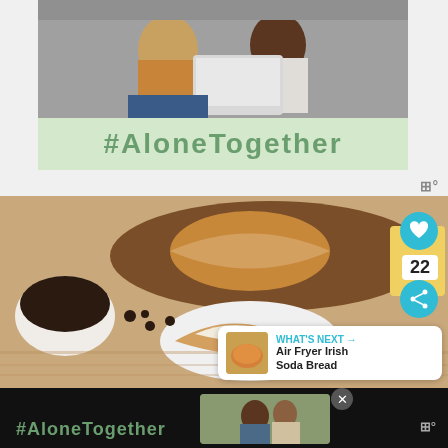[Figure (photo): Two people sitting on a couch looking at a laptop together]
#AloneTogether
⊞°
[Figure (photo): Irish soda bread sliced on a wooden cutting board with raisins and butter]
♥
22
WHAT'S NEXT → Air Fryer Irish Soda Bread
#AloneTogether
⊞°